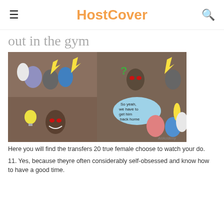HostCover
out in the gym
[Figure (illustration): A four-panel comic strip featuring animated characters in a gym-like cave setting. Characters include figures with yellow lightning bolt accessories, red eyes, and a speech bubble saying 'So yeah, we have to get him back home'. Artist watermark reads 'ArtAcidemy'.]
Here you will find the transfers 20 true female choose to watch your do.
11. Yes, because theyre often considerably self-obsessed and know how to have a good time.